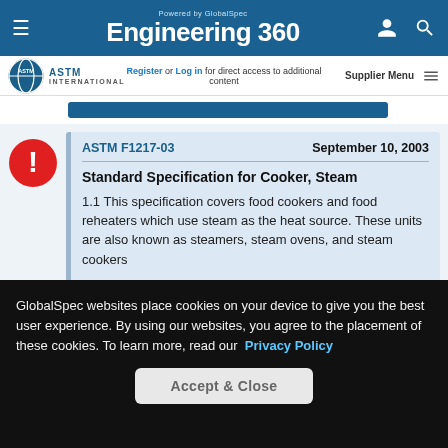Engineering 360 — Powered by GlobalSpec
[Figure (logo): ASTM International logo with globe icon]
Register or Log in for direct access to additional content
ASTM F1217-03    September 10, 2003
Standard Specification for Cooker, Steam
1.1 This specification covers food cookers and food reheaters which use steam as the heat source. These units are also known as steamers, steam ovens, and steam cookers
GlobalSpec websites place cookies on your device to give you the best user experience. By using our websites, you agree to the placement of these cookies. To learn more, read our Privacy Policy
Accept & Close